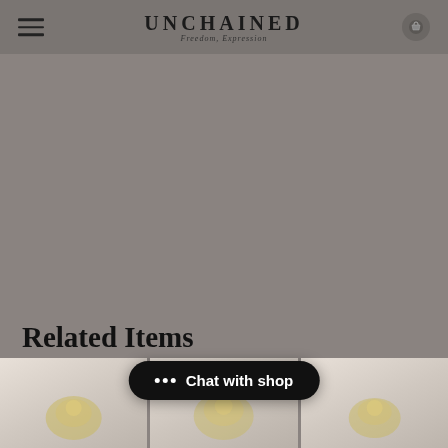UNCHAINED — Freedom, Expression
Related Items
[Figure (photo): Three thumbnail product photos of gold jewelry pieces on a marble/pearl background, partially visible at the bottom of the page]
Chat with shop